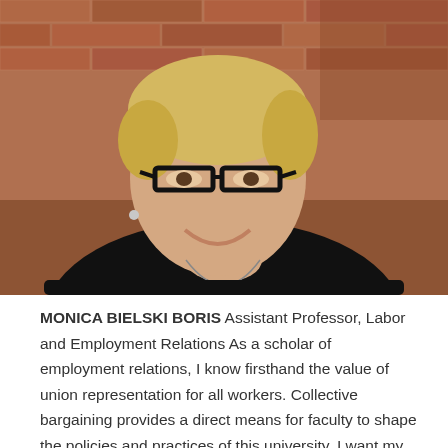[Figure (photo): Headshot photo of Monica Bielski Boris, a woman with short blonde hair and black-rimmed glasses, wearing a black top with a long necklace, smiling in front of a brick wall background.]
MONICA BIELSKI BORIS Assistant Professor, Labor and Employment Relations As a scholar of employment relations, I know firsthand the value of union representation for all workers. Collective bargaining provides a direct means for faculty to shape the policies and practices of this university. I want my university to be more equitable, democratic, and transparent, and